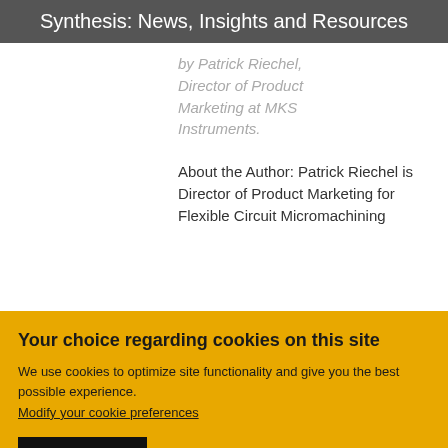Synthesis: News, Insights and Resources
by Patrick Riechel, Director of Product Marketing at MKS Instruments.
About the Author: Patrick Riechel is Director of Product Marketing for Flexible Circuit Micromachining
Your choice regarding cookies on this site
We use cookies to optimize site functionality and give you the best possible experience.
Modify your cookie preferences
Accept